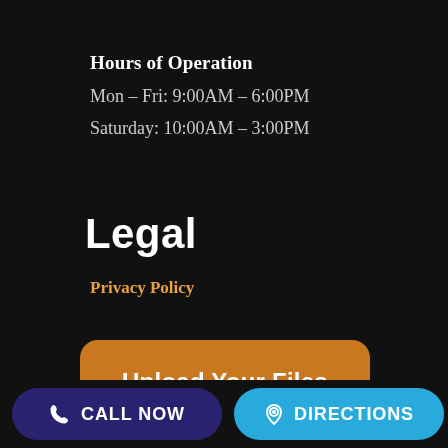Hours of Operation
Mon – Fri: 9:00AM – 6:00PM
Saturday: 10:00AM – 3:00PM
Legal
Privacy Policy
Upload Your Files
CALL NOW   DIRECTIONS